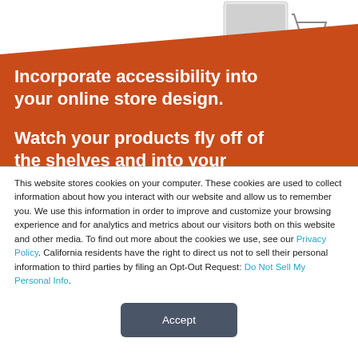[Figure (illustration): Partial view of a laptop and a shopping cart on a white background at the top of the page]
Incorporate accessibility into your online store design.

Watch your products fly off of the shelves and into your
This website stores cookies on your computer. These cookies are used to collect information about how you interact with our website and allow us to remember you. We use this information in order to improve and customize your browsing experience and for analytics and metrics about our visitors both on this website and other media. To find out more about the cookies we use, see our Privacy Policy. California residents have the right to direct us not to sell their personal information to third parties by filing an Opt-Out Request: Do Not Sell My Personal Info.
Accept